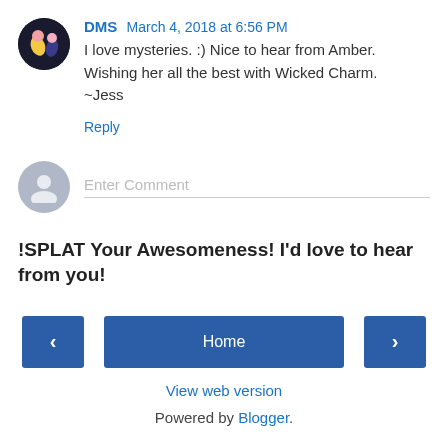DMS March 4, 2018 at 6:56 PM
I love mysteries. :) Nice to hear from Amber. Wishing her all the best with Wicked Charm.
~Jess
Reply
[Figure (other): Comment input area with anonymous user avatar and 'Enter Comment' placeholder]
!SPLAT Your Awesomeness! I'd love to hear from you!
[Figure (other): Navigation bar with left arrow button, Home button, and right arrow button]
View web version
Powered by Blogger.